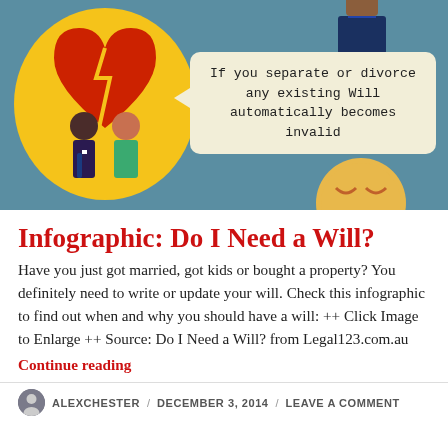[Figure (infographic): Infographic image showing a yellow circle with animated couple figures (man in suit and woman) standing in front of a broken red heart on a teal/blue background. A speech bubble on the right reads: 'If you separate or divorce any existing Will automatically becomes invalid'. Partial circles visible at top-right and bottom-right.]
Infographic: Do I Need a Will?
Have you just got married, got kids or bought a property? You definitely need to write or update your will. Check this infographic to find out when and why you should have a will: ++ Click Image to Enlarge ++ Source: Do I Need a Will? from Legal123.com.au
Continue reading
ALEXCHESTER / DECEMBER 3, 2014 / LEAVE A COMMENT